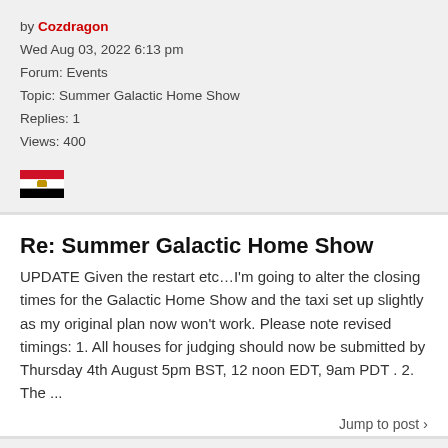by Cozdragon
Wed Aug 03, 2022 6:13 pm
Forum: Events
Topic: Summer Galactic Home Show
Replies: 1
Views: 400
[Figure (illustration): Egypt flag emoji icon]
Re: Summer Galactic Home Show
UPDATE Given the restart etc...I'm going to alter the closing times for the Galactic Home Show and the taxi set up slightly as my original plan now won't work. Please note revised timings: 1. All houses for judging should now be submitted by Thursday 4th August 5pm BST, 12 noon EDT, 9am PDT . 2. The ...
Jump to post >
by Cozdragon
Tue Aug 02, 2022 7:20 pm
Forum: Events